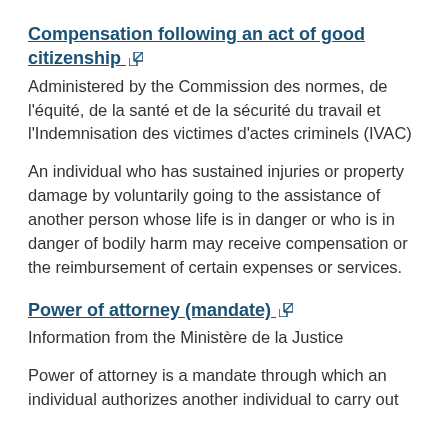Compensation following an act of good citizenship [external link]
Administered by the Commission des normes, de l'équité, de la santé et de la sécurité du travail et l'Indemnisation des victimes d'actes criminels (IVAC)
An individual who has sustained injuries or property damage by voluntarily going to the assistance of another person whose life is in danger or who is in danger of bodily harm may receive compensation or the reimbursement of certain expenses or services.
Power of attorney (mandate) [external link]
Information from the Ministère de la Justice
Power of attorney is a mandate through which an individual authorizes another individual to carry out